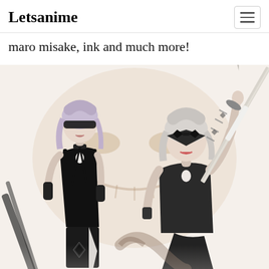Letsanime
maro misake, ink and much more!
[Figure (illustration): Two anime female characters dressed in black outfits. The left character wears a black sleeveless dress with a blindfold and has lavender hair. The right character wears a short black dress with a blindfold and white hair, holding a large katana sword above her head. Background has a faint demon/monster face shape in muted warm tones.]